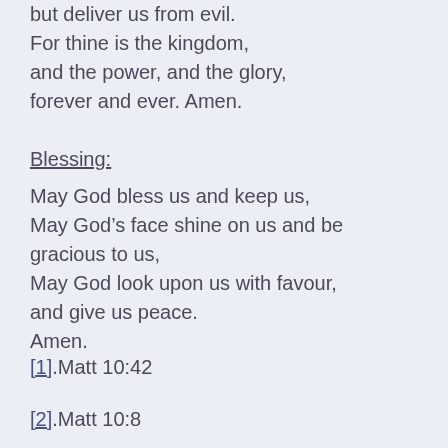but deliver us from evil.
For thine is the kingdom,
and the power, and the glory,
forever and ever. Amen.
Blessing:
May God bless us and keep us,
May God’s face shine on us and be gracious to us,
May God look upon us with favour,
and give us peace.
Amen.
[1].Matt 10:42
[2].Matt 10:8